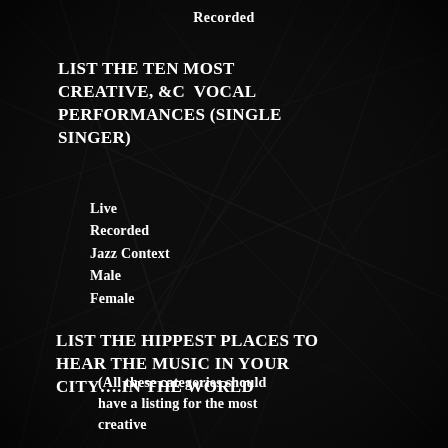Recorded
LIST THE TEN MOST CREATIVE, &C  VOCAL PERFORMANCES (SINGLE SINGER)
Live
Recorded
Jazz Context
Male
Female
LIST THE HIPPEST PLACES TO HEAR THE MUSIC IN YOUR CITY….IN THE WORLD
(All these categories should have a listing for the most creative